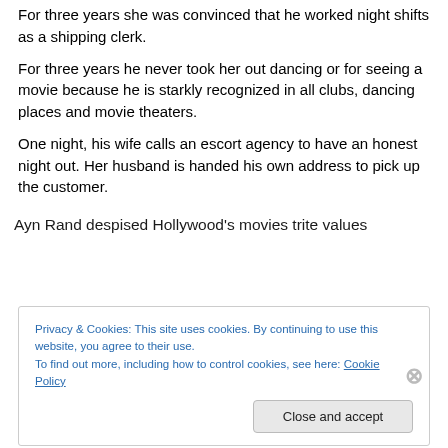For three years she was convinced that he worked night shifts as a shipping clerk.
For three years he never took her out dancing or for seeing a movie because he is starkly recognized in all clubs, dancing places and movie theaters.
One night, his wife calls an escort agency to have an honest night out. Her husband is handed his own address to pick up the customer.
Ayn Rand despised Hollywood’s movies trite values
Privacy & Cookies: This site uses cookies. By continuing to use this website, you agree to their use.
To find out more, including how to control cookies, see here: Cookie Policy
Close and accept
BRIGHTDIM